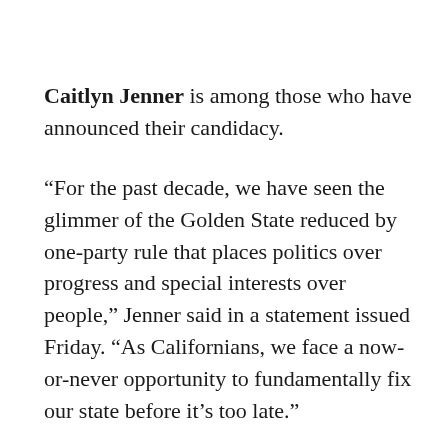Caitlyn Jenner is among those who have announced their candidacy.
“For the past decade, we have seen the glimmer of the Golden State reduced by one-party rule that places politics over progress and special interests over people,” Jenner said in a statement issued Friday. “As Californians, we face a now-or-never opportunity to fundamentally fix our state before it’s too late.”
Jenner is a Republican who has never sought public office. In recent years, the 1976 Olympic decathlon gold medalist and reality television personality has been a